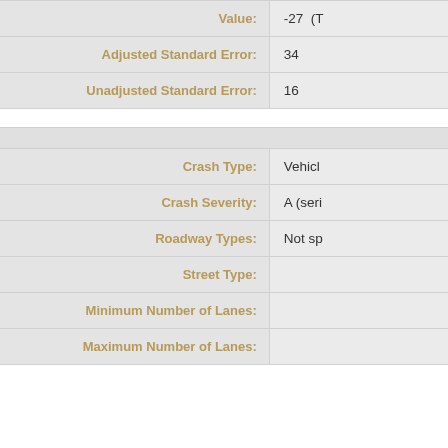| Label | Value |
| --- | --- |
| Value: | -27  (T… |
| Adjusted Standard Error: | 34 |
| Unadjusted Standard Error: | 16 |
| Label | Value |
| --- | --- |
|  |  |
| Crash Type: | Vehicl… |
| Crash Severity: | A (seri… |
| Roadway Types: | Not sp… |
| Street Type: |  |
| Minimum Number of Lanes: |  |
| Maximum Number of Lanes: |  |